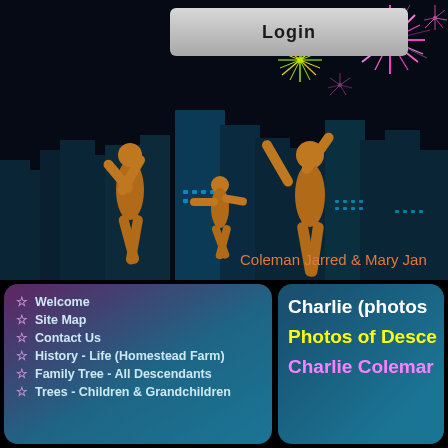[Figure (screenshot): Website screenshot showing a Login button at top, a dark night sky with fireworks and city skyline background, orange dancing silhouettes, text 'Coleman Jarred & Mary Jan', a left navigation panel with menu items, and a right content panel with text about Charlie Coleman photos and descendants.]
Login
Coleman Jarred & Mary Jan
Welcome
Site Map
Contact Us
History - Life (Homestead Farm)
Family Tree - All Descendants
Trees - Children & Grandchildren
Charlie (photos
Photos of Desce
Charlie Colemar